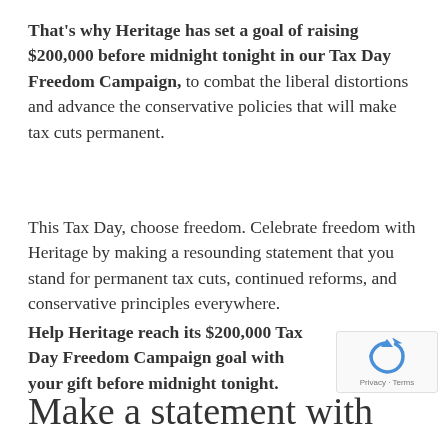That's why Heritage has set a goal of raising $200,000 before midnight tonight in our Tax Day Freedom Campaign, to combat the liberal distortions and advance the conservative policies that will make tax cuts permanent.
This Tax Day, choose freedom. Celebrate freedom with Heritage by making a resounding statement that you stand for permanent tax cuts, continued reforms, and conservative principles everywhere.
Help Heritage reach its $200,000 Tax Day Freedom Campaign goal with your gift before midnight tonight.
Make a statement with